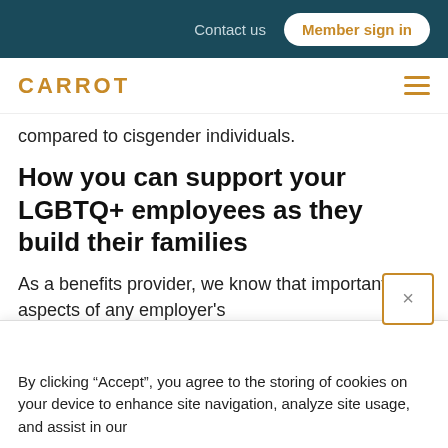Contact us  Member sign in
CARROT
compared to cisgender individuals.
How you can support your LGBTQ+ employees as they build their families
As a benefits provider, we know that important aspects of any employer's
By clicking “Accept”, you agree to the storing of cookies on your device to enhance site navigation, analyze site usage, and assist in our